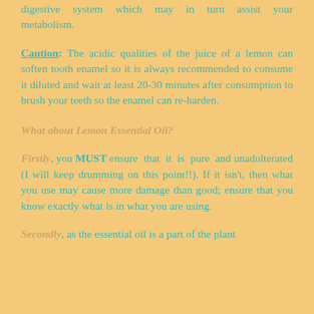digestive system which may in turn assist your metabolism.
Caution: The acidic qualities of the juice of a lemon can soften tooth enamel so it is always recommended to consume it diluted and wait at least 20-30 minutes after consumption to brush your teeth so the enamel can re-harden.
What about Lemon Essential Oil?
Firstly, you MUST ensure that it is pure and unadulterated (I will keep drumming on this point!!). If it isn't, then what you use may cause more damage than good; ensure that you know exactly what is in what you are using.
Secondly, as the essential oil is a part of the plant